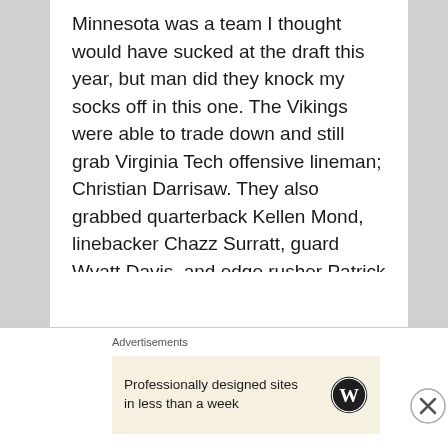Minnesota was a team I thought would have sucked at the draft this year, but man did they knock my socks off in this one. The Vikings were able to trade down and still grab Virginia Tech offensive lineman; Christian Darrisaw. They also grabbed quarterback Kellen Mond, linebacker Chazz Surratt, guard Wyatt Davis, and edge rusher Patrick Jones II.
10.) Denver Broncos
Grade: A-
Advertisements
Professionally designed sites in less than a week